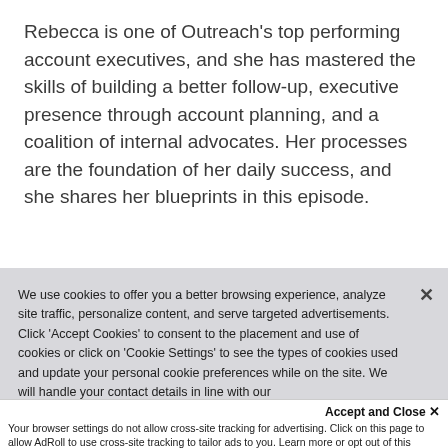Rebecca is one of Outreach's top performing account executives, and she has mastered the skills of building a better follow-up, executive presence through account planning, and a coalition of internal advocates. Her processes are the foundation of her daily success, and she shares her blueprints in this episode.
We use cookies to offer you a better browsing experience, analyze site traffic, personalize content, and serve targeted advertisements. Click 'Accept Cookies' to consent to the placement and use of cookies or click on 'Cookie Settings' to see the types of cookies used and update your personal cookie preferences while on the site. We will handle your contact details in line with our Privacy Policy.
Accept and Close ×
Your browser settings do not allow cross-site tracking for advertising. Click on this page to allow AdRoll to use cross-site tracking to tailor ads to you. Learn more or opt out of this AdRoll tracking by clicking here. This message only appears once.